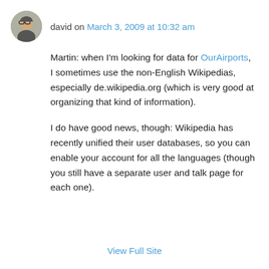[Figure (photo): Round avatar photo of a man with glasses]
david on March 3, 2009 at 10:32 am
Martin: when I'm looking for data for OurAirports, I sometimes use the non-English Wikipedias, especially de.wikipedia.org (which is very good at organizing that kind of information).
I do have good news, though: Wikipedia has recently unified their user databases, so you can enable your account for all the languages (though you still have a separate user and talk page for each one).
View Full Site